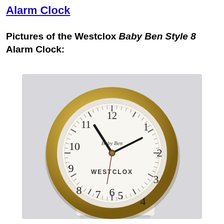Alarm Clock
Pictures of the Westclox Baby Ben Style 8 Alarm Clock:
[Figure (photo): Photograph of a Westclox Baby Ben Style 8 alarm clock with a round gold/brass bezel and white base, showing the clock face with numbers 1-12, brand name 'Baby Ben' at top and 'WESTCLOX' at bottom of the dial, with hands pointing to approximately 10:10.]